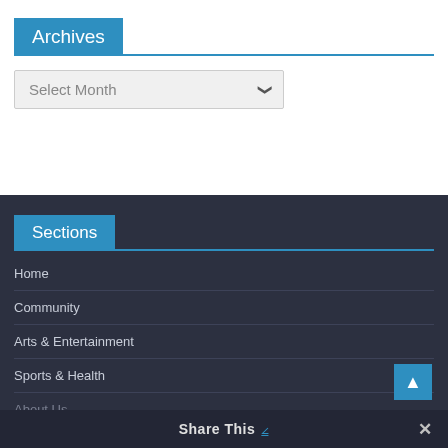Archives
Select Month
Sections
Home
Community
Arts & Entertainment
Sports & Health
About Us
Share This